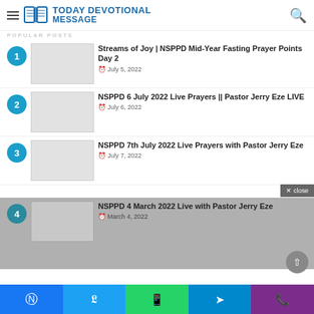TODAY DEVOTIONAL MESSAGE
Streams of Joy | NSPPD Mid-Year Fasting Prayer Points Day 2 — July 5, 2022
NSPPD 6 July 2022 Live Prayers || Pastor Jerry Eze LIVE — July 6, 2022
NSPPD 7th July 2022 Live Prayers with Pastor Jerry Eze — July 7, 2022
NSPPD 4 March 2022 Live with Pastor Jerry Eze — March 4, 2022